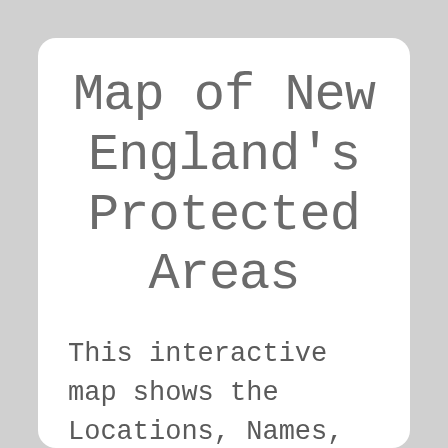Map of New England's Protected Areas
This interactive map shows the Locations, Names, Areas, and Details of National Parks, State Parks, National Forests, Tribal, and other Public Lands of New England